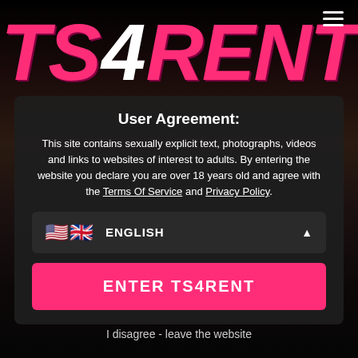[Figure (logo): TS4RENT logo in large bold pink italic letters with white '4']
User Agreement:
This site contains sexually explicit text, photographs, videos and links to websites of interest to adults. By entering the website you declare you are over 18 years old and agree with the Terms Of Service and Privacy Policy.
ENGLISH
ENTER TS4RENT
I disagree - leave the website